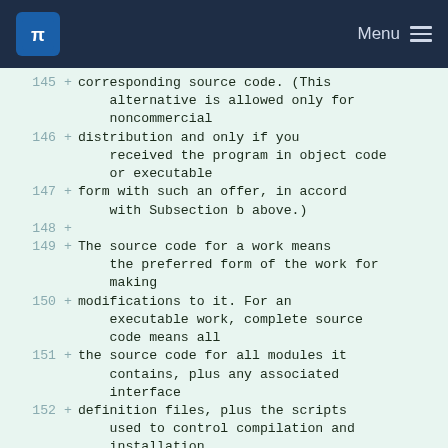KDE Menu
145 + corresponding source code. (This alternative is allowed only for noncommercial
146 + distribution and only if you received the program in object code or executable
147 + form with such an offer, in accord with Subsection b above.)
148 +
149 + The source code for a work means the preferred form of the work for making
150 + modifications to it. For an executable work, complete source code means all
151 + the source code for all modules it contains, plus any associated interface
152 + definition files, plus the scripts used to control compilation and installation